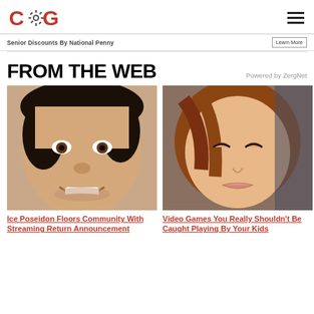COG logo and hamburger menu
Senior Discounts By National Penny
Learn More
FROM THE WEB
Powered by ZergNet
[Figure (photo): Close-up selfie of a smiling young man with dark curly hair]
[Figure (illustration): 3D-rendered animated female character with brown hair, eyes half-closed]
Ice Poseidon Floors Community With Streaming Return Announcement
Video Games You Really Shouldn't Be Caught Playing By Your Kids